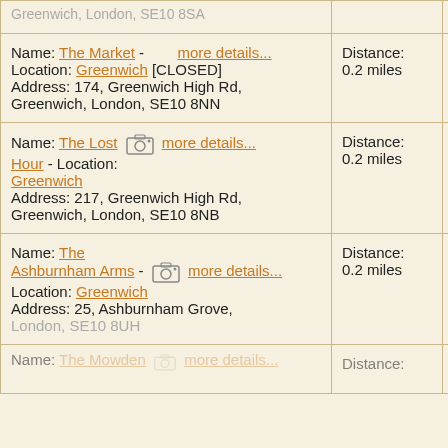| Name / Location / Address | Distance | Rating |
| --- | --- | --- |
| Name: The Market - more details... Location: Greenwich [CLOSED] Address: 174, Greenwich High Rd, Greenwich, London, SE10 8NN | Distance: 0.2 miles | 6.7/ |
| Name: The Lost Hour - Location: Greenwich more details... Address: 217, Greenwich High Rd, Greenwich, London, SE10 8NB | Distance: 0.2 miles | 4.2/ |
| Name: The Ashburnham Arms - Location: Greenwich more details... Address: 25, Ashburnham Grove, London, SE10 8UH | Distance: 0.2 miles | 7.0/ |
| Name: The Mowden ... more details... | Distance: |  |